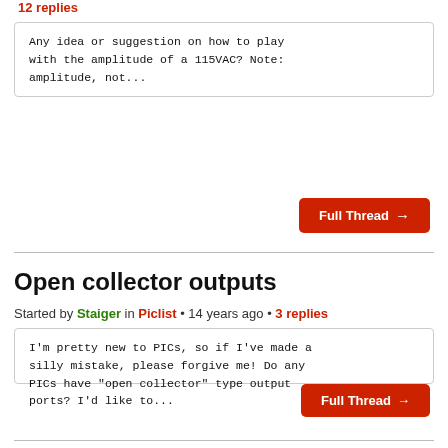12 replies
Any idea or suggestion on how to play with the amplitude of a 115VAC? Note: amplitude, not...
Full Thread →
Open collector outputs
Started by Staiger in Piclist • 14 years ago • 3 replies
I'm pretty new to PICs, so if I've made a silly mistake, please forgive me! Do any PICs have "open collector" type output ports? I'd like to...
Full Thread →